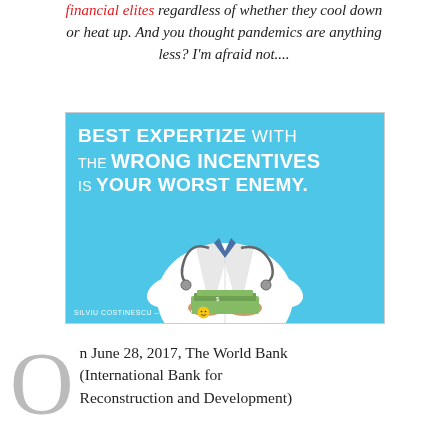financial elites regardless of whether they cool down or heat up. And you thought pandemics are anything less? I'm afraid not....
[Figure (illustration): Promotional image with cyan/blue background showing text 'BEST EXPERTIZE WITH THE WRONG INCENTIVES IS YOUR WORST ENEMY.' over a photo of a doctor in a white coat holding cash money, with stethoscope. Attribution: SILVIU COSTINESCU - SILVIEW]
On June 28, 2017, The World Bank (International Bank for Reconstruction and Development)